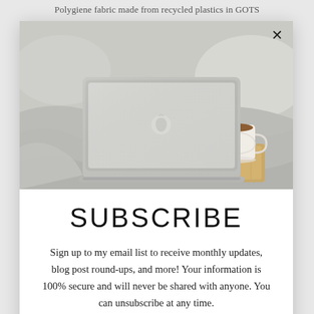Polygiene fabric made from recycled plastics in GOTS
[Figure (photo): Photo of an Apple MacBook laptop and a cup of coffee on a wooden tray, resting on a bed with white/grey linen sheets and pillows. A close (X) button is visible in the top-right corner of the modal overlay.]
SUBSCRIBE
Sign up to my email list to receive monthly updates, blog post round-ups, and more! Your information is 100% secure and will never be shared with anyone. You can unsubscribe at any time.